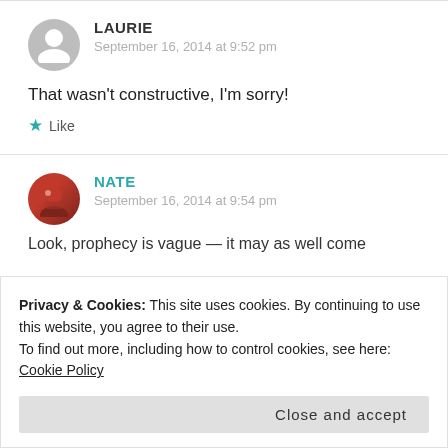[Figure (illustration): Gray circular avatar with person silhouette icon for user Laurie]
LAURIE
September 16, 2014 at 9:52 pm
That wasn't constructive, I'm sorry!
★ Like
[Figure (photo): Circular avatar photo with red/dark tones for user Nate]
NATE
September 16, 2014 at 9:54 pm
Privacy & Cookies: This site uses cookies. By continuing to use this website, you agree to their use.
To find out more, including how to control cookies, see here: Cookie Policy
Close and accept
Look, prophecy is vague — it may as well come